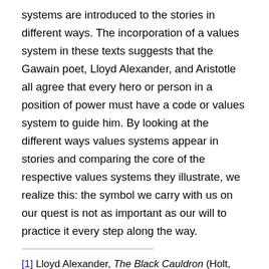systems are introduced to the stories in different ways. The incorporation of a values system in these texts suggests that the Gawain poet, Lloyd Alexander, and Aristotle all agree that every hero or person in a position of power must have a code or values system to guide him. By looking at the different ways values systems appear in stories and comparing the core of the respective values systems they illustrate, we realize this: the symbol we carry with us on our quest is not as important as our will to practice it every step along the way.
[1] Lloyd Alexander, The Black Cauldron (Holt, Rine and Winston: New York, 1965), 117.
[2] Lloyd Alexander, 117.
[3] Lloyd Alexander, 47.